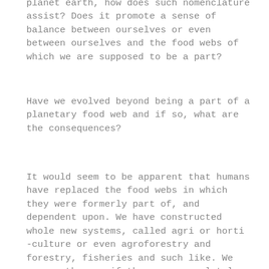planet earth, how does such nomenclature assist? Does it promote a sense of balance between ourselves or even between ourselves and the food webs of which we are supposed to be a part?
Have we evolved beyond being a part of a planetary food web and if so, what are the consequences?
It would seem to be apparent that humans have replaced the food webs in which they were formerly part of, and dependent upon. We have constructed whole new systems, called agri or horti -culture or even agroforestry and forestry, fisheries and such like. We occupy them as if they were completely independent of any